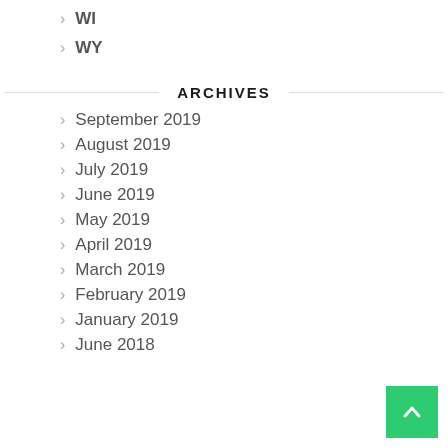WI
WY
ARCHIVES
September 2019
August 2019
July 2019
June 2019
May 2019
April 2019
March 2019
February 2019
January 2019
June 2018